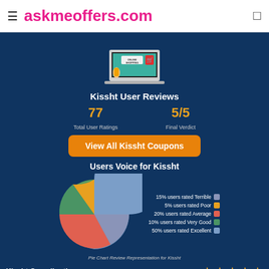askmeoffers.com
Kissht User Reviews
77 Total User Ratings
5/5 Final Verdict
View All Kissht Coupons
Users Voice for Kissht
[Figure (pie-chart): Pie Chart Review Representation for Kissht]
Pie Chart Review Representation for Kissht
Kissht Overall rating ★★★★★